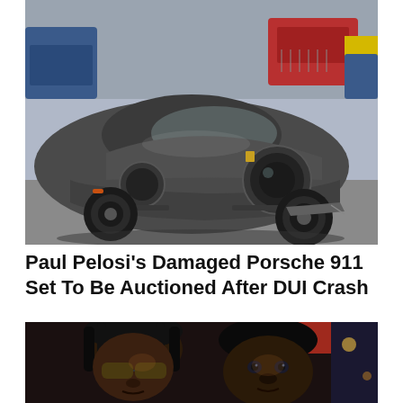[Figure (photo): A dark gray Porsche 911 sports car photographed in a parking lot surrounded by other vehicles including a red Jeep and a blue SUV. The car appears to have minor front-end damage.]
Paul Pelosi's Damaged Porsche 911 Set To Be Auctioned After DUI Crash
[Figure (photo): Two Black men posing for a selfie-style photograph at night, with a neon sign visible in the background.]